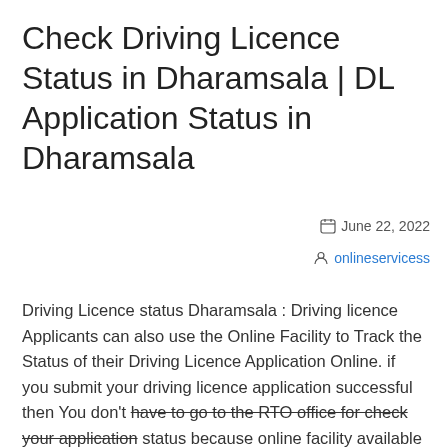Check Driving Licence Status in Dharamsala | DL Application Status in Dharamsala
June 22, 2022
onlineservicess
Driving Licence status Dharamsala : Driving licence Applicants can also use the Online Facility to Track the Status of their Driving Licence Application Online. if you submit your driving licence application successful then You don't have to go to the RTO office for check your application status because online facility available vie sarthi parivahan website or nic website driving licence